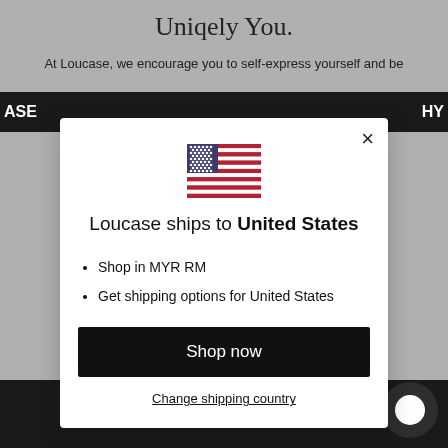Uniqely You.
At Loucase, we encourage you to self-express yourself and be
[Figure (screenshot): Modal dialog showing US flag and shipping options for Loucase e-commerce site]
Loucase ships to United States
Shop in MYR RM
Get shipping options for United States
Shop now
Change shipping country